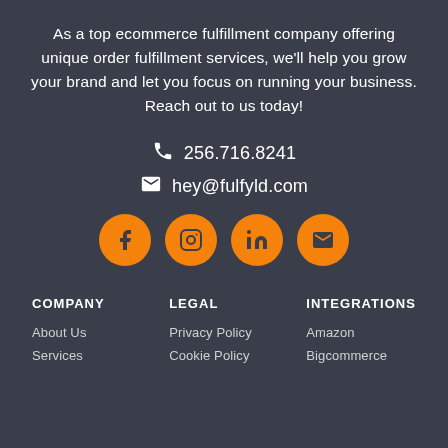As a top ecommerce fulfillment company offering unique order fulfillment services, we'll help you grow your brand and let you focus on running your business. Reach out to us today!
📞 256.716.8241
✉ hey@fulfyld.com
[Figure (other): Row of four orange circular social media icons: Facebook, Instagram, LinkedIn, Email]
COMPANY
LEGAL
INTEGRATIONS
About Us
Services
Privacy Policy
Cookie Policy
Amazon
Bigcommerce